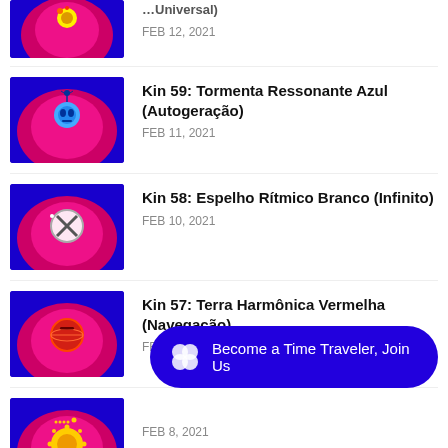Kin 59: Tormenta Ressonante Azul (Autogeração)
FEB 11, 2021
Kin 58: Espelho Rítmico Branco (Infinito)
FEB 10, 2021
Kin 57: Terra Harmônica Vermelha (Navegação)
FEB 9, 2021
Kin [56]...
FEB 8, 2021
Become a Time Traveler, Join Us